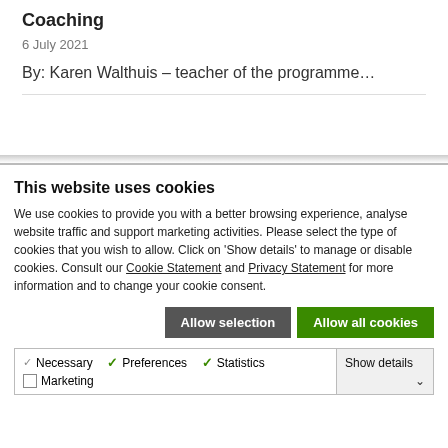Coaching
6 July 2021
By: Karen Walthuis – teacher of the programme…
This website uses cookies
We use cookies to provide you with a better browsing experience, analyse website traffic and support marketing activities. Please select the type of cookies that you wish to allow. Click on 'Show details' to manage or disable cookies. Consult our Cookie Statement and Privacy Statement for more information and to change your cookie consent.
Allow selection | Allow all cookies
| Necessary | Preferences | Statistics | Show details |
| Marketing |  |  |  |